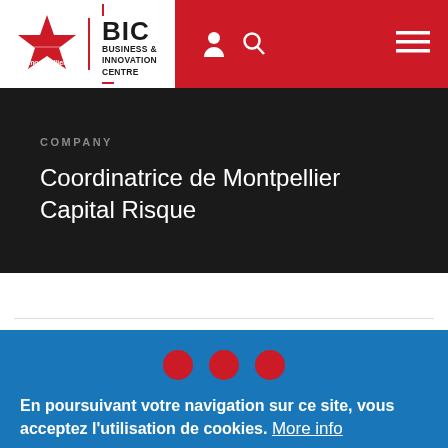[Figure (logo): BIC Business & Innovation Centre logo with Montpellier Méditerranée Métropole star emblem on white background, set in red navigation bar]
COMPANY
Coordinatrice de Montpellier Capital Risque
SHARE THIS PAGE
En poursuivant votre navigation sur ce site, vous acceptez l'utilisation de cookies. More info
Accept
Decline